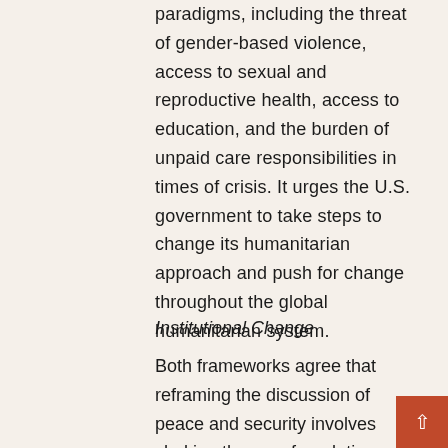paradigms, including the threat of gender-based violence, access to sexual and reproductive health, access to education, and the burden of unpaid care responsibilities in times of crisis. It urges the U.S. government to take steps to change its humanitarian approach and push for change throughout the global humanitarian system.
Institutional Change
Both frameworks agree that reframing the discussion of peace and security involves shaking the very foundations of the patriarchy, a